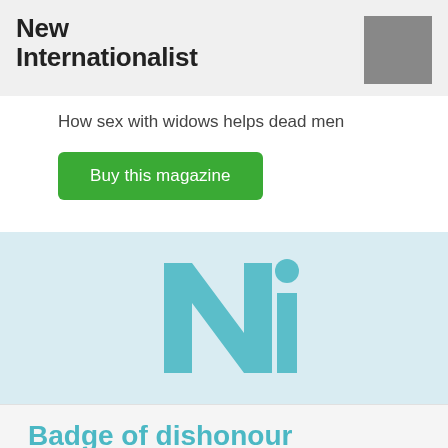New Internationalist
How sex with widows helps dead men
Buy this magazine
[Figure (logo): New Internationalist NI logo in teal/turquoise color on light blue background]
Badge of dishonour